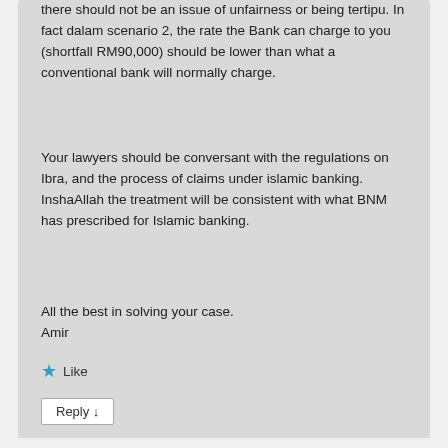there should not be an issue of unfairness or being tertipu. In fact dalam scenario 2, the rate the Bank can charge to you (shortfall RM90,000) should be lower than what a conventional bank will normally charge.
Your lawyers should be conversant with the regulations on Ibra, and the process of claims under islamic banking. InshaAllah the treatment will be consistent with what BNM has prescribed for Islamic banking.
All the best in solving your case.
Amir